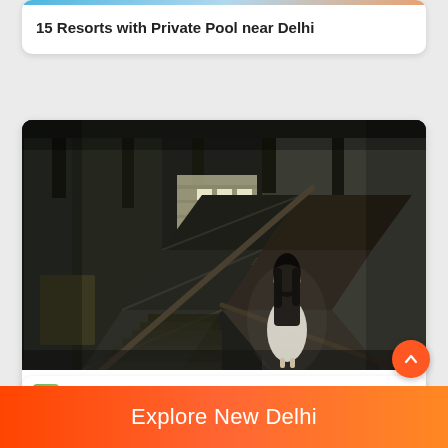15 Resorts with Private Pool near Delhi
[Figure (photo): Dark atmospheric photo of a haunted staircase with a ghostly figure of a woman in a white skirt standing on the stairs in a dimly lit abandoned building]
15 Haunted Places In Delhi
Best Outdoor Experiences Around Delhi
Explore New Delhi